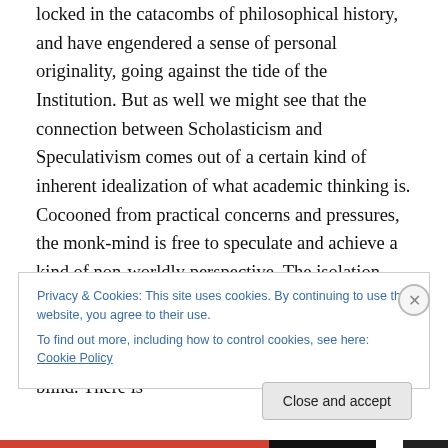locked in the catacombs of philosophical history, and have engendered a sense of personal originality, going against the tide of the Institution. But as well we might see that the connection between Scholasticism and Speculativism comes out of a certain kind of inherent idealization of what academic thinking is. Cocooned from practical concerns and pressures, the monk-mind is free to speculate and achieve a kind of non-worldly perspective. The isolation into institutions, and then, when run from, into blogged privacies is a participation in privilege to which the thought produce may very well be blind. There is
Privacy & Cookies: This site uses cookies. By continuing to use this website, you agree to their use.
To find out more, including how to control cookies, see here: Cookie Policy